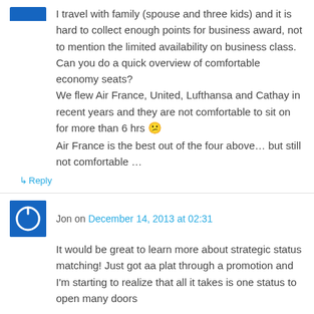I travel with family (spouse and three kids) and it is hard to collect enough points for business award, not to mention the limited availability on business class. Can you do a quick overview of comfortable economy seats?
We flew Air France, United, Lufthansa and Cathay in recent years and they are not comfortable to sit on for more than 6 hrs 😕
Air France is the best out of the four above… but still not comfortable …
↳ Reply
Jon on December 14, 2013 at 02:31
It would be great to learn more about strategic status matching! Just got aa plat through a promotion and I'm starting to realize that all it takes is one status to open many doors
↳ Reply
Kevin G on December 14, 2013 at 02:32